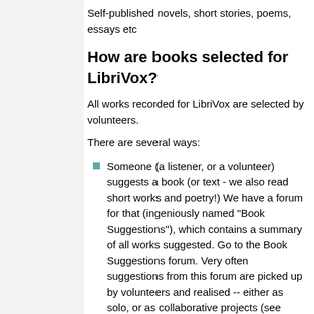Self-published novels, short stories, poems, essays etc
How are books selected for LibriVox?
All works recorded for LibriVox are selected by volunteers.
There are several ways:
Someone (a listener, or a volunteer) suggests a book (or text - we also read short works and poetry!) We have a forum for that (ingeniously named "Book Suggestions"), which contains a summary of all works suggested. Go to the Book Suggestions forum. Very often suggestions from this forum are picked up by volunteers and realised -- either as solo, or as collaborative projects (see HowLibriVoxWorks for information on these). Here's a summary of all the current suggestions (those that haven't yet been taken up by a reader): Suggestions List Here are some great external sources for